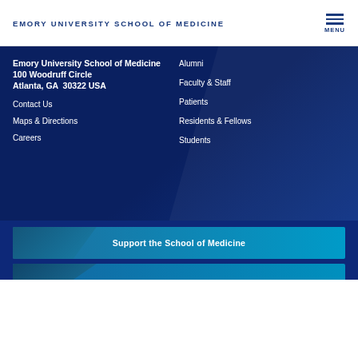EMORY UNIVERSITY SCHOOL OF MEDICINE
Emory University School of Medicine
100 Woodruff Circle
Atlanta, GA  30322 USA
Contact Us
Maps & Directions
Careers
Alumni
Faculty & Staff
Patients
Residents & Fellows
Students
Support the School of Medicine